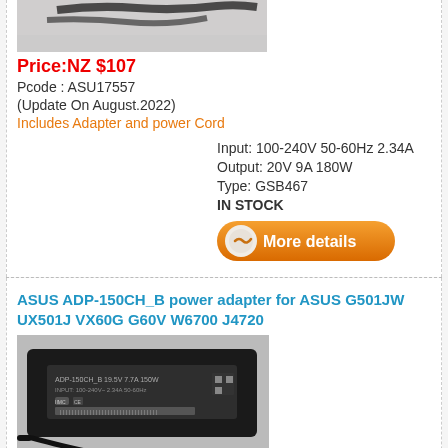[Figure (photo): Top portion of a power adapter/cord product photo (cropped at top)]
Price:NZ $107
Pcode : ASU17557
(Update On August.2022)
Includes Adapter and power Cord
Input: 100-240V 50-60Hz 2.34A
Output: 20V 9A 180W
Type: GSB467
IN STOCK
[Figure (other): More details button with orange rounded rectangle and circular icon]
ASUS ADP-150CH_B power adapter for ASUS G501JW UX501J VX60G G60V W6700 J4720
[Figure (photo): Photo of ASUS power adapter brick, black rectangular unit with label showing certifications and barcodes]
Price:NZ $85